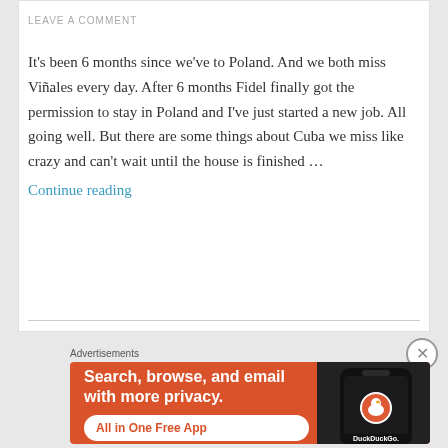LEAVE A COMMENT
It's been 6 months since we've to Poland. And we both miss Viñales every day. After 6 months Fidel finally got the permission to stay in Poland and I've just started a new job. All going well. But there are some things about Cuba we miss like crazy and can't wait until the house is finished … Continue reading
[Figure (screenshot): DuckDuckGo advertisement banner with orange background. Text reads 'Search, browse, and email with more privacy. All in One Free App'. Shows a smartphone with DuckDuckGo logo on dark background.]